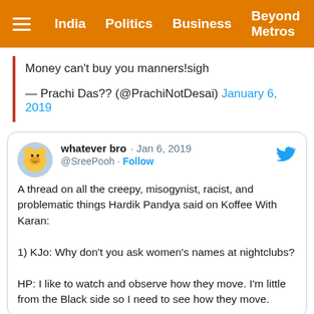India  Politics  Business  Beyond Metros
Money can't buy you manners!sigh
— Prachi Das?? (@PrachiNotDesai) January 6, 2019
whatever bro · Jan 6, 2019
@SreePooh · Follow
A thread on all the creepy, misogynist, racist, and problematic things Hardik Pandya said on Koffee With Karan:

1) KJo: Why don't you ask women's names at nightclubs?

HP: I like to watch and observe how they move. I'm little from the Black side so I need to see how they move.